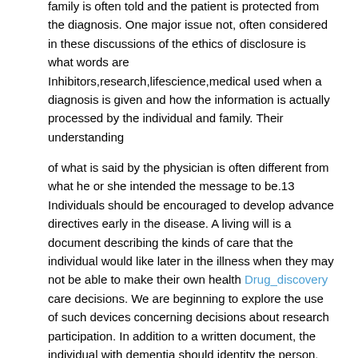family is often told and the patient is protected from the diagnosis. One major issue not, often considered in these discussions of the ethics of disclosure is what words are Inhibitors,research,lifescience,medical used when a diagnosis is given and how the information is actually processed by the individual and family. Their understanding
of what is said by the physician is often different from what he or she intended the message to be.13 Individuals should be encouraged to develop advance directives early in the disease. A living will is a document describing the kinds of care that the individual would like later in the illness when they may not be able to make their own health Drug_discovery care decisions. We are beginning to explore the use of such devices concerning decisions about research participation. In addition to a written document, the individual with dementia should identity the person, usually the caregiver, who will make decisions when the patient is not able to do so, ie, a surrogate decision-maker. How a caregiver should make the